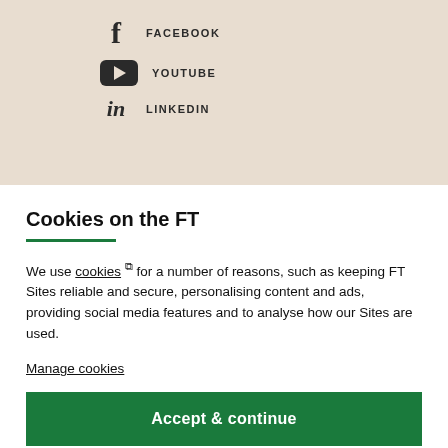FACEBOOK
YOUTUBE
LINKEDIN
Cookies on the FT
We use cookies ⧉ for a number of reasons, such as keeping FT Sites reliable and secure, personalising content and ads, providing social media features and to analyse how our Sites are used.
Manage cookies
Accept & continue